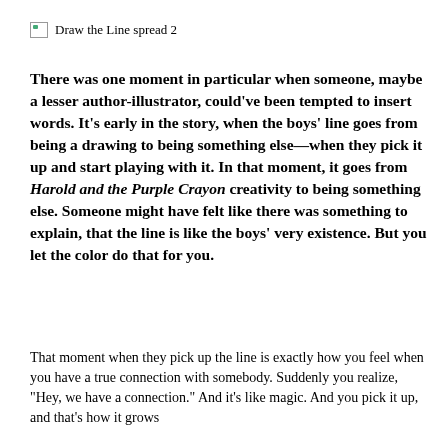[Figure (illustration): Broken image placeholder labeled 'Draw the Line spread 2']
There was one moment in particular when someone, maybe a lesser author-illustrator, could've been tempted to insert words. It's early in the story, when the boys' line goes from being a drawing to being something else—when they pick it up and start playing with it. In that moment, it goes from Harold and the Purple Crayon creativity to being something else. Someone might have felt like there was something to explain, that the line is like the boys' very existence. But you let the color do that for you.
That moment when they pick up the line is exactly how you feel when you have a true connection with somebody. Suddenly you realize, "Hey, we have a connection." And it's like magic. And you pick it up, and that's how it grows